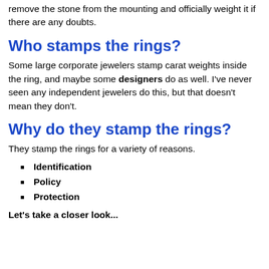remove the stone from the mounting and officially weight it if there are any doubts.
Who stamps the rings?
Some large corporate jewelers stamp carat weights inside the ring, and maybe some designers do as well. I've never seen any independent jewelers do this, but that doesn't mean they don't.
Why do they stamp the rings?
They stamp the rings for a variety of reasons.
Identification
Policy
Protection
Let's take a closer look...